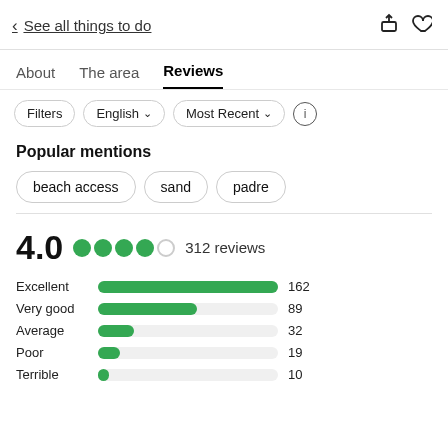< See all things to do
About  The area  Reviews
Filters  English ▾  Most Recent ▾  ⓘ
Popular mentions
beach access
sand
padre
[Figure (infographic): Rating summary: 4.0 stars shown as 4 filled green circles and 1 empty circle, 312 reviews]
[Figure (bar-chart): Review distribution]